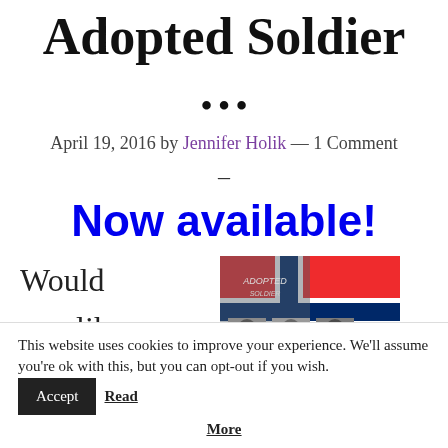Adopted Soldier ...
April 19, 2016 by Jennifer Holik — 1 Comment
–
Now available!
Would you like
[Figure (photo): Book cover image with a Norwegian flag and photographs of soldiers]
This website uses cookies to improve your experience. We'll assume you're ok with this, but you can opt-out if you wish. Accept Read More